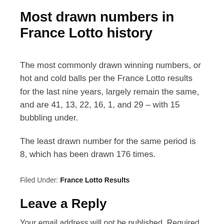Most drawn numbers in France Lotto history
The most commonly drawn winning numbers, or hot and cold balls per the France Lotto results for the last nine years, largely remain the same, and are 41, 13, 22, 16, 1, and 29 – with 15 bubbling under.
The least drawn number for the same period is 8, which has been drawn 176 times.
Filed Under: France Lotto Results
Leave a Reply
Your email address will not be published. Required fields